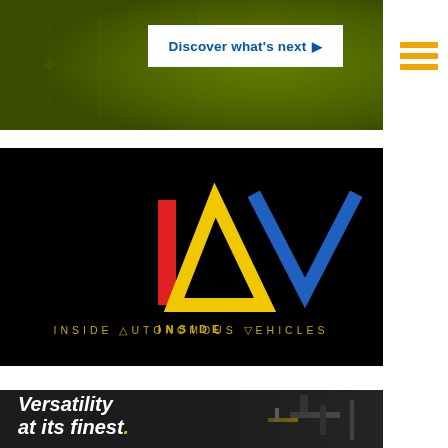[Figure (illustration): Green/olive colored banner background with circuit-board pattern overlay]
[Figure (other): White button with blue text 'Discover what's next' and right-pointing arrow]
[Figure (other): Hamburger menu icon with three orange horizontal lines]
[Figure (logo): IAV logo on black background — red vertical bar (I), yellow triangle (A), blue V-shape (V) with text 'INSIDE AUTONOMOUS VEHICLES' below in yellow/white spaced letters]
[Figure (photo): Dark banner showing robotic/mechanical equipment on right side with bold white italic text 'Versatility at its finest.' with orange period on dark background]